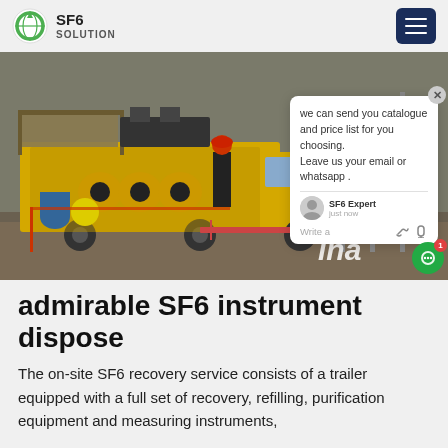[Figure (logo): SF6 Solution logo with circular green arrow icon and text 'SF6 SOLUTION']
[Figure (photo): On-site SF6 recovery service: yellow truck with equipment at an industrial site; worker in red hard hat visible; electrical substation towers in background; chat popup overlay in lower right]
admirable SF6 instrument dispose
The on-site SF6 recovery service consists of a trailer equipped with a full set of recovery, refilling, purification equipment and measuring instruments,